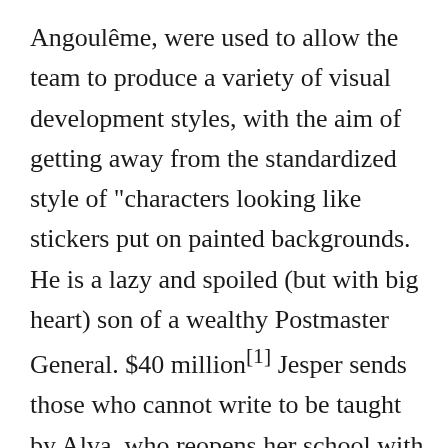Angoulême, were used to allow the team to produce a variety of visual development styles, with the aim of getting away from the standardized style of "characters looking like stickers put on painted backgrounds. He is a lazy and spoiled (but with big heart) son of a wealthy Postmaster General. $40 million[1] Jesper sends those who cannot write to be taught by Alva, who reopens her school with the money she was saving to leave Smeerensburg, and Klaus and Jesper tame a